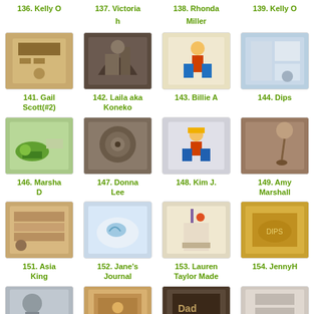136. Kelly O
137. Victoria h
138. Rhonda Miller
139. Kelly O
[Figure (photo): Craft card thumbnail 141]
141. Gail Scott(#2)
[Figure (photo): Craft card thumbnail 142]
142. Laila aka Koneko
[Figure (photo): Craft card thumbnail 143]
143. Billie A
[Figure (photo): Craft card thumbnail 144]
144. Dips
[Figure (photo): Craft card thumbnail 146]
146. Marsha D
[Figure (photo): Craft card thumbnail 147]
147. Donna Lee
[Figure (photo): Craft card thumbnail 148]
148. Kim J.
[Figure (photo): Craft card thumbnail 149]
149. Amy Marshall
[Figure (photo): Craft card thumbnail 151]
151. Asia King
[Figure (photo): Craft card thumbnail 152]
152. Jane's Journal
[Figure (photo): Craft card thumbnail 153]
153. Lauren Taylor Made
[Figure (photo): Craft card thumbnail 154]
154. JennyH
[Figure (photo): Craft card thumbnail 156]
[Figure (photo): Craft card thumbnail 157]
[Figure (photo): Craft card thumbnail 158]
[Figure (photo): Craft card thumbnail 159]